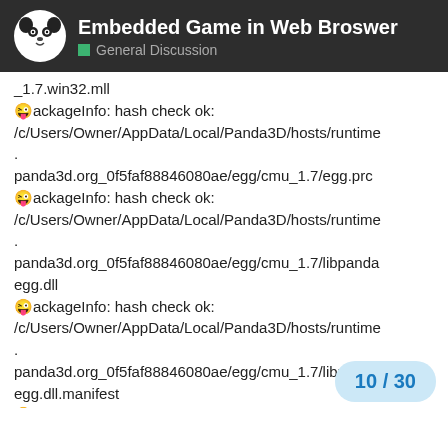Embedded Game in Web Broswer — General Discussion
_1.7.win32.mll
😜ackageInfo: hash check ok: /c/Users/Owner/AppData/Local/Panda3D/hosts/runtime.
panda3d.org_0f5faf88846080ae/egg/cmu_1.7/egg.prc
😜ackageInfo: hash check ok: /c/Users/Owner/AppData/Local/Panda3D/hosts/runtime.
panda3d.org_0f5faf88846080ae/egg/cmu_1.7/libpandaegg.dll
😜ackageInfo: hash check ok: /c/Users/Owner/AppData/Local/Panda3D/hosts/runtime.
panda3d.org_0f5faf88846080ae/egg/cmu_1.7/libpandaegg.dll.manifest
😜ackageInfo: Package egg uses 5 MB
:AppRunner: Total Panda3D disk space used: 112 MB
:AppRunner: Configured max usage is
10 / 30